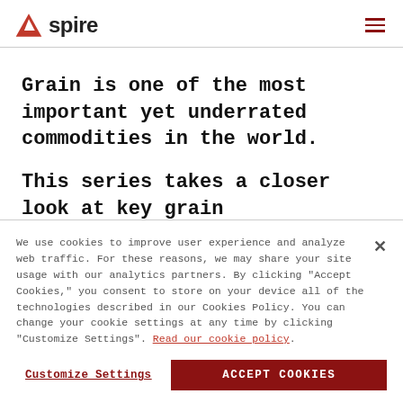Spire
Grain is one of the most important yet underrated commodities in the world.
This series takes a closer look at key grain
We use cookies to improve user experience and analyze web traffic. For these reasons, we may share your site usage with our analytics partners. By clicking "Accept Cookies," you consent to store on your device all of the technologies described in our Cookies Policy. You can change your cookie settings at any time by clicking "Customize Settings". Read our cookie policy.
Customize Settings
ACCEPT COOKIES